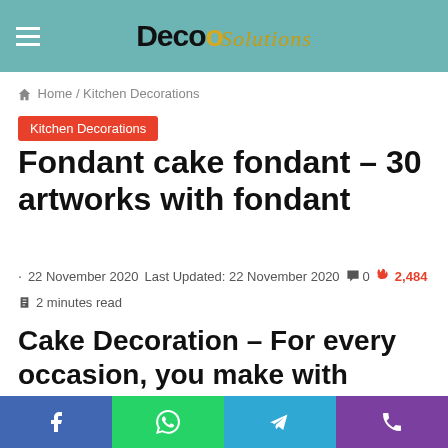Deco Solutions
Home / Kitchen Decorations
Kitchen Decorations
Fondant cake fondant – 30 artworks with fondant
22 November 2020   Last Updated: 22 November 2020   0   2,484
2 minutes read
Cake Decoration – For every occasion, you make with fondant